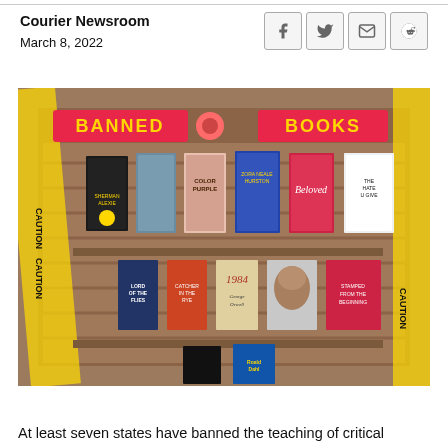Courier Newsroom
March 8, 2022
[Figure (photo): A bookstore display of Banned Books including The Color Purple, Beloved, 1984, Lord of the Flies, and others, surrounded by yellow caution tape, with red signs reading BANNED BOOKS.]
At least seven states have banned the teaching of critical